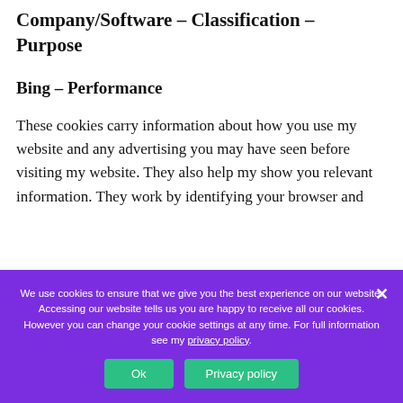Company/Software – Classification – Purpose
Bing – Performance
These cookies carry information about how you use my website and any advertising you may have seen before visiting my website. They also help my show you relevant information. They work by identifying your browser and
We use cookies to ensure that we give you the best experience on our website. Accessing our website tells us you are happy to receive all our cookies. However you can change your cookie settings at any time. For full information see my privacy policy.